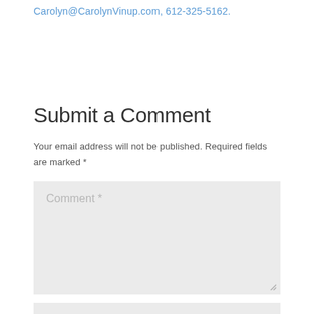Carolyn@CarolynVinup.com, 612-325-5162.
Submit a Comment
Your email address will not be published. Required fields are marked *
[Figure (screenshot): Comment text area input field with placeholder text 'Comment *' and resize handle]
[Figure (screenshot): Name input field (partially visible at bottom)]